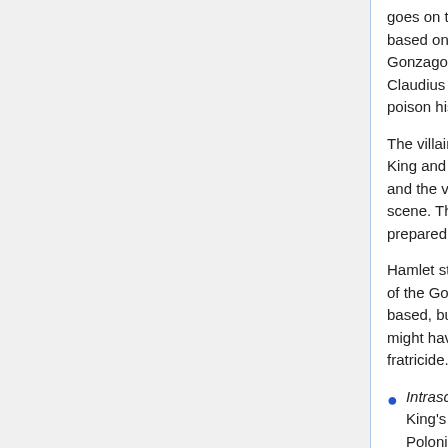goes on to speak of the source of the play, that it is based on a real murder, of a person named Gonzago. Hamlet still gives no thought to where Claudius may have gotten the idea for how to poison his brother.
The villain of the play enters, in a solo scene. The King and Queen were introduced in the first scene, and the villain is now introduced in this second scene. The villain speaks of poison he has prepared.
Hamlet still can't keep quiet, and he again speaks of the Gonzago story, upon which the play is based, but still with no thought of where Claudius might have gotten his idea about how to commit fratricide. Claudius abruptly rises and leaves.
Intrascene 9: Claudius hurries to his room, the King's Room, followed by Gertrude, R & G, and Polonius. To